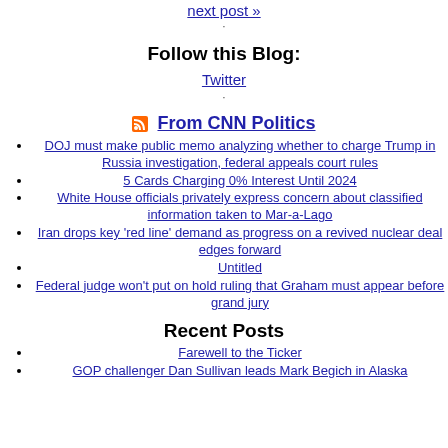next post »
·
Follow this Blog:
Twitter
·
From CNN Politics
DOJ must make public memo analyzing whether to charge Trump in Russia investigation, federal appeals court rules
5 Cards Charging 0% Interest Until 2024
White House officials privately express concern about classified information taken to Mar-a-Lago
Iran drops key 'red line' demand as progress on a revived nuclear deal edges forward
Untitled
Federal judge won't put on hold ruling that Graham must appear before grand jury
Recent Posts
Farewell to the Ticker
GOP challenger Dan Sullivan leads Mark Begich in Alaska